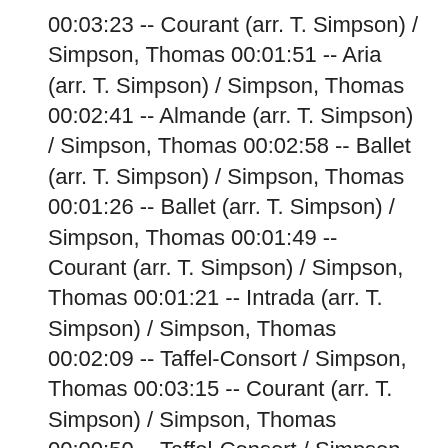00:03:23 -- Courant (arr. T. Simpson) / Simpson, Thomas 00:01:51 -- Aria (arr. T. Simpson) / Simpson, Thomas 00:02:41 -- Almande (arr. T. Simpson) / Simpson, Thomas 00:02:58 -- Ballet (arr. T. Simpson) / Simpson, Thomas 00:01:26 -- Ballet (arr. T. Simpson) / Simpson, Thomas 00:01:49 -- Courant (arr. T. Simpson) / Simpson, Thomas 00:01:21 -- Intrada (arr. T. Simpson) / Simpson, Thomas 00:02:09 -- Taffel-Consort / Simpson, Thomas 00:03:15 -- Courant (arr. T. Simpson) / Simpson, Thomas 00:00:50 -- Taffel-Consort / Simpson, Thomas 00:01:48 -- Courant (arr. T. Simpson) * / Simpson, Thomas 00:00:59 -- Aria (arr. T. Simpson) / Simpson, Thomas 00:02:40 -- Mascarada (arr. T. Simpson) / Simpson, Thomas 00:01:31 --